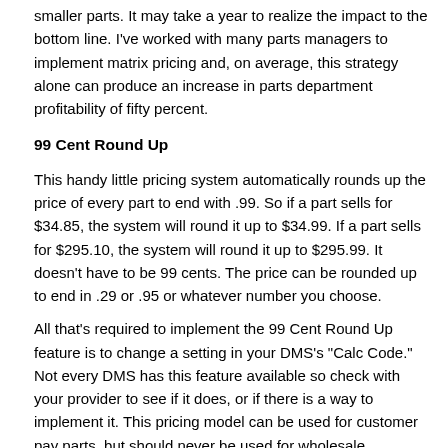smaller parts. It may take a year to realize the impact to the bottom line. I've worked with many parts managers to implement matrix pricing and, on average, this strategy alone can produce an increase in parts department profitability of fifty percent.
99 Cent Round Up
This handy little pricing system automatically rounds up the price of every part to end with .99. So if a part sells for $34.85, the system will round it up to $34.99. If a part sells for $295.10, the system will round it up to $295.99. It doesn't have to be 99 cents. The price can be rounded up to end in .29 or .95 or whatever number you choose.
All that's required to implement the 99 Cent Round Up feature is to change a setting in your DMS's "Calc Code." Not every DMS has this feature available so check with your provider to see if it does, or if there is a way to implement it. This pricing model can be used for customer pay parts, but should never be used for wholesale customers.